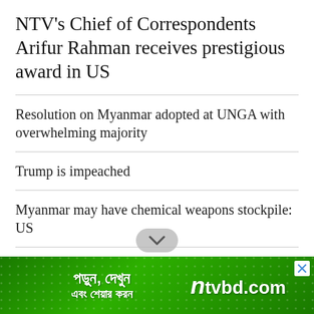NTV's Chief of Correspondents Arifur Rahman receives prestigious award in US
Resolution on Myanmar adopted at UNGA with overwhelming majority
Trump is impeached
Myanmar may have chemical weapons stockpile: US
Florida's Bangladeshi Cultural Organisation...
[Figure (screenshot): Green advertisement banner for ntvbd.com with Bengali text 'পড়ুন, দেখুন এবং শেয়ার করন' and ntvbd.com logo]